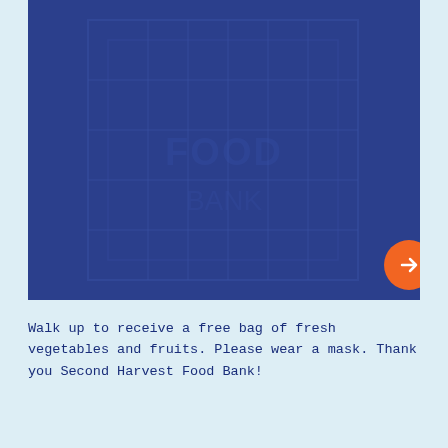[Figure (photo): Dark blue background image showing an institutional/government building with grid-like architectural patterns, partially visible. An orange circular arrow button overlays the bottom-right corner of the image.]
Walk up to receive a free bag of fresh vegetables and fruits. Please wear a mask. Thank you Second Harvest Food Bank!
FREE FRESH MARKET